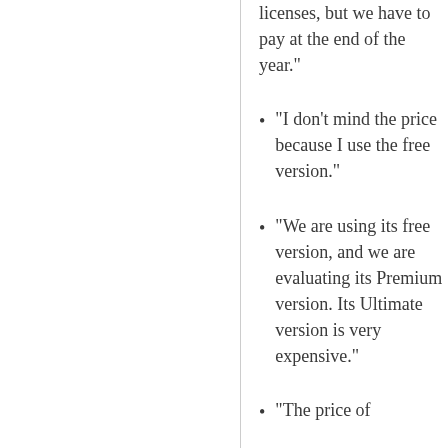licenses, but we have to pay at the end of the year."
"I don't mind the price because I use the free version."
"We are using its free version, and we are evaluating its Premium version. Its Ultimate version is very expensive."
"The price of